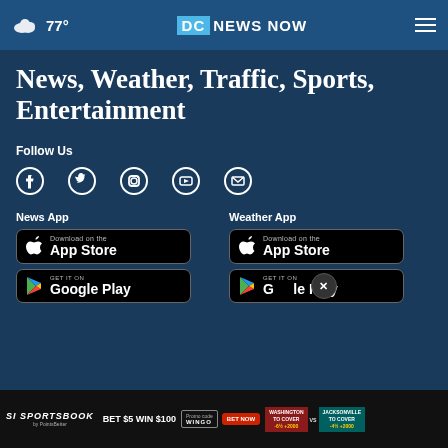77° DC NEWS NOW
News, Weather, Traffic, Sports, Entertainment
Follow Us
[Figure (screenshot): Social media icons: Facebook, Twitter, Instagram, YouTube, Email]
News App
[Figure (screenshot): Download on the App Store badge]
[Figure (screenshot): Get it on Google Play badge]
Weather App
[Figure (screenshot): Download on the App Store badge]
[Figure (screenshot): Get it on Google Play badge]
[Figure (screenshot): SI Sportsbook ad banner: BET $5 WIN $100. Washington to cover vs Jacksonville. Promo code WINGO.]